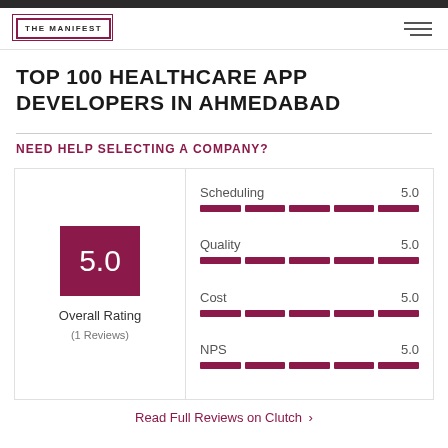THE MANIFEST
TOP 100 HEALTHCARE APP DEVELOPERS IN AHMEDABAD
NEED HELP SELECTING A COMPANY?
[Figure (infographic): Rating card showing Overall Rating of 5.0 with 1 Review, and sub-scores for Scheduling 5.0, Quality 5.0, Cost 5.0, NPS 5.0, each shown as a filled segmented bar]
Read Full Reviews on Clutch >